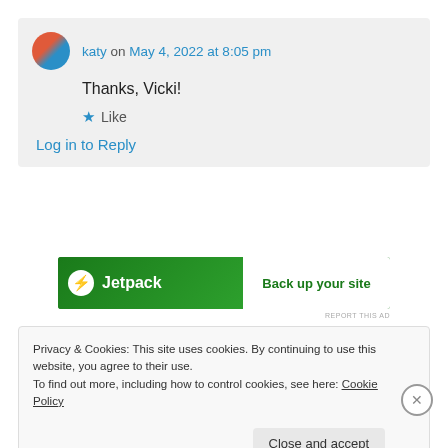katy on May 4, 2022 at 8:05 pm
Thanks, Vicki!
★ Like
Log in to Reply
[Figure (screenshot): Jetpack ad banner — green background with Jetpack logo and 'Back up your site' CTA]
REPORT THIS AD
Privacy & Cookies: This site uses cookies. By continuing to use this website, you agree to their use.
To find out more, including how to control cookies, see here: Cookie Policy
Close and accept